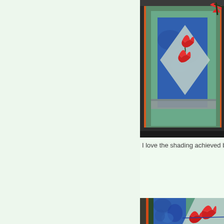[Figure (photo): Close-up of a quilt with blue, teal, green fabric borders and red tulip applique on light gray/silver background, framed with orange binding]
I love the shading achieved by differ
[Figure (photo): Close-up of a quilt showing blue floral fabric, teal/green fabric, light silvery background with red tulip applique shapes and orange binding stripe]